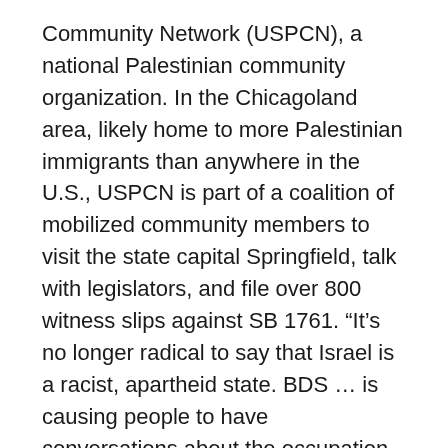Community Network (USPCN), a national Palestinian community organization. In the Chicagoland area, likely home to more Palestinian immigrants than anywhere in the U.S., USPCN is part of a coalition of mobilized community members to visit the state capital Springfield, talk with legislators, and file over 800 witness slips against SB 1761. “It’s no longer radical to say that Israel is a racist, apartheid state. BDS … is causing people to have conversations about the occupation, and changing the way people talk about it. That’s why AIPAC is afraid.”
Will BDS continue to gain ground worldwide? Last summer, the world watched as Israel’s Operation Protective Edge killed over 2,100 Palestinians in Gaza, over 70% of whom were confirmed civilians, and wounded over 10,000 more. Israel indiscriminately reduced businesses, medical facilities, mosques, power stations